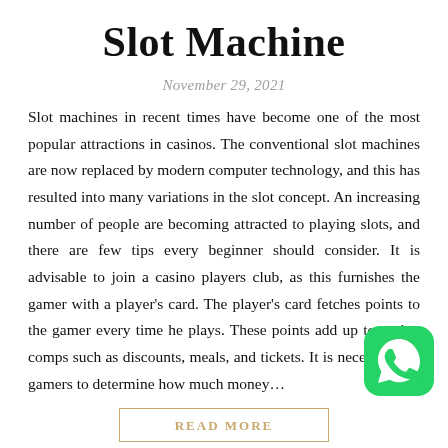Slot Machine
November 29, 2021
Slot machines in recent times have become one of the most popular attractions in casinos. The conventional slot machines are now replaced by modern computer technology, and this has resulted into many variations in the slot concept. An increasing number of people are becoming attracted to playing slots, and there are few tips every beginner should consider. It is advisable to join a casino players club, as this furnishes the gamer with a player's card. The player's card fetches points to the gamer every time he plays. These points add up to casino comps such as discounts, meals, and tickets. It is necessary for gamers to determine how much money…
[Figure (logo): WhatsApp green icon with phone symbol]
READ MORE